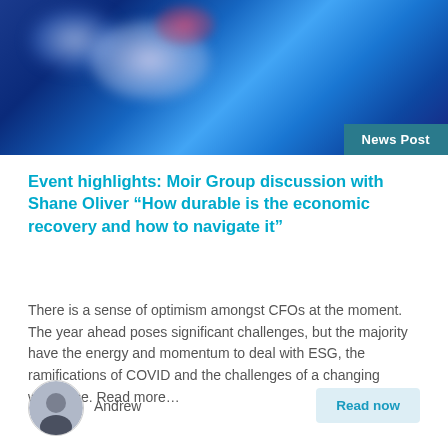[Figure (photo): Abstract blurred blue background image with white and pink bokeh light effects, used as a hero banner image for a news post]
News Post
Event highlights: Moir Group discussion with Shane Oliver “How durable is the economic recovery and how to navigate it”
There is a sense of optimism amongst CFOs at the moment. The year ahead poses significant challenges, but the majority have the energy and momentum to deal with ESG, the ramifications of COVID and the challenges of a changing workforce. Read more…
[Figure (photo): Circular avatar photo of a man named Andrew in a suit]
Andrew
Read now